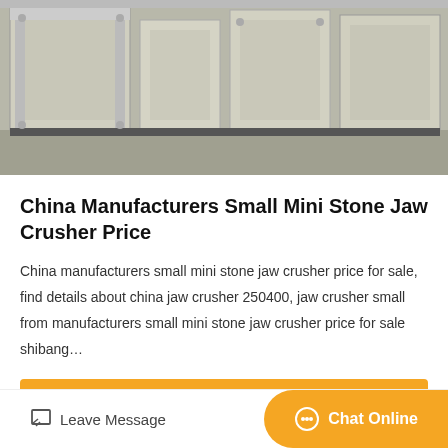[Figure (photo): Industrial jaw crusher equipment parts in gray/beige color, showing metal frames and structural components]
China Manufacturers Small Mini Stone Jaw Crusher Price
China manufacturers small mini stone jaw crusher price for sale, find details about china jaw crusher 250400, jaw crusher small from manufacturers small mini stone jaw crusher price for sale shibang…
Get Price
[Figure (photo): Industrial machinery with large red and black circular wheels/flywheels in a factory setting]
Leave Message | Chat Online